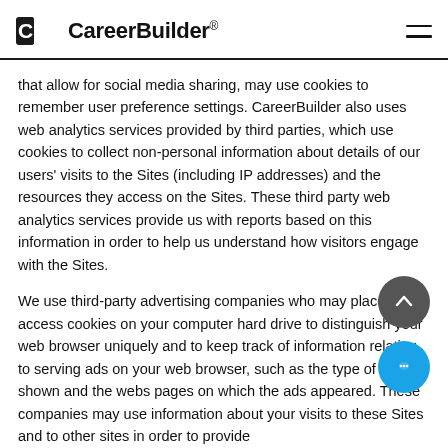CareerBuilder®
that allow for social media sharing, may use cookies to remember user preference settings. CareerBuilder also uses web analytics services provided by third parties, which use cookies to collect non-personal information about details of our users' visits to the Sites (including IP addresses) and the resources they access on the Sites. These third party web analytics services provide us with reports based on this information in order to help us understand how visitors engage with the Sites.
We use third-party advertising companies who may place or access cookies on your computer hard drive to distinguish your web browser uniquely and to keep track of information relating to serving ads on your web browser, such as the type of ads shown and the webs pages on which the ads appeared. These companies may use information about your visits to these Sites and to other sites in order to provide